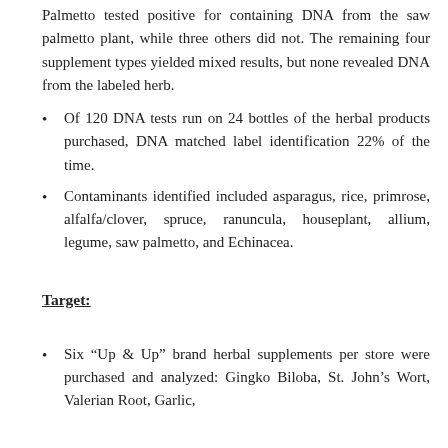Palmetto tested positive for containing DNA from the saw palmetto plant, while three others did not. The remaining four supplement types yielded mixed results, but none revealed DNA from the labeled herb.
Of 120 DNA tests run on 24 bottles of the herbal products purchased, DNA matched label identification 22% of the time.
Contaminants identified included asparagus, rice, primrose, alfalfa/clover, spruce, ranuncula, houseplant, allium, legume, saw palmetto, and Echinacea.
Target:
Six “Up & Up” brand herbal supplements per store were purchased and analyzed: Gingko Biloba, St. John’s Wort, Valerian Root, Garlic,